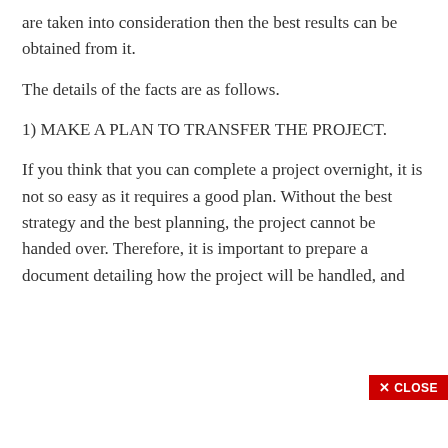are taken into consideration then the best results can be obtained from it.
The details of the facts are as follows.
1) MAKE A PLAN TO TRANSFER THE PROJECT.
If you think that you can complete a project overnight, it is not so easy as it requires a good plan. Without the best strategy and the best planning, the project cannot be handed over. Therefore, it is important to prepare a document detailing how the project will be handled, and